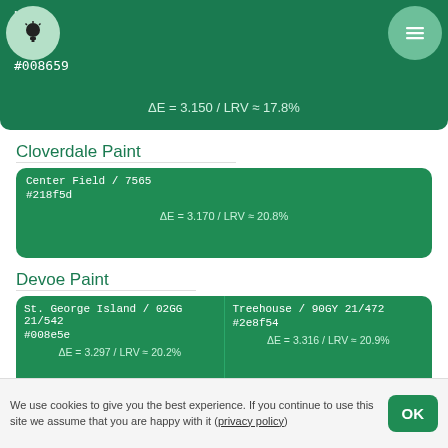HKS57 / #008659 / ΔE = 3.150 / LRV ≈ 17.8%
Cloverdale Paint
Center Field / 7565
#218f5d
ΔE = 3.170 / LRV ≈ 20.8%
Devoe Paint
St. George Island / 02GG 21/542
#008e5e
ΔE = 3.297 / LRV ≈ 20.2%
Treehouse / 90GY 21/472
#2e8f54
ΔE = 3.316 / LRV ≈ 20.9%
Plascon
Pleasant Pasture G5-C1-3
Spring Forest G1-D1-3
We use cookies to give you the best experience. If you continue to use this site we assume that you are happy with it (privacy policy)